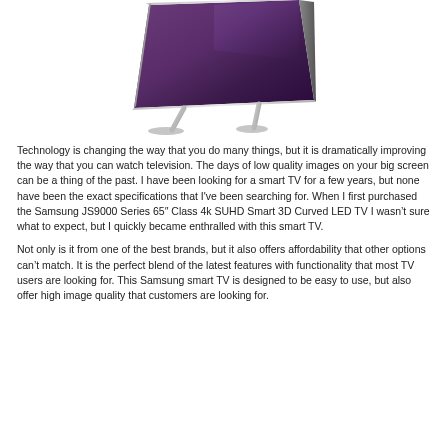[Figure (photo): Samsung curved smart TV viewed from an angle, showing a purple/dark display screen with a slim metallic silver frame and curved stand base.]
Technology is changing the way that you do many things, but it is dramatically improving the way that you can watch television. The days of low quality images on your big screen can be a thing of the past. I have been looking for a smart TV for a few years, but none have been the exact specifications that I've been searching for. When I first purchased the Samsung JS9000 Series 65″ Class 4k SUHD Smart 3D Curved LED TV I wasn't sure what to expect, but I quickly became enthralled with this smart TV.
Not only is it from one of the best brands, but it also offers affordability that other options can't match. It is the perfect blend of the latest features with functionality that most TV users are looking for. This Samsung smart TV is designed to be easy to use, but also offer high image quality that customers are looking for.